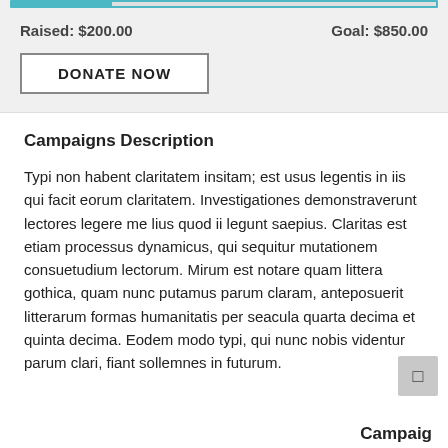[Figure (other): Progress bar showing fundraising progress, approximately 23.5% filled in teal/cyan color with a teal border]
Raised: $200.00	Goal: $850.00
DONATE NOW
Campaigns Description
Typi non habent claritatem insitam; est usus legentis in iis qui facit eorum claritatem. Investigationes demonstraverunt lectores legere me lius quod ii legunt saepius. Claritas est etiam processus dynamicus, qui sequitur mutationem consuetudium lectorum. Mirum est notare quam littera gothica, quam nunc putamus parum claram, anteposuerit litterarum formas humanitatis per seacula quarta decima et quinta decima. Eodem modo typi, qui nunc nobis videntur parum clari, fiant sollemnes in futurum.
Campaig